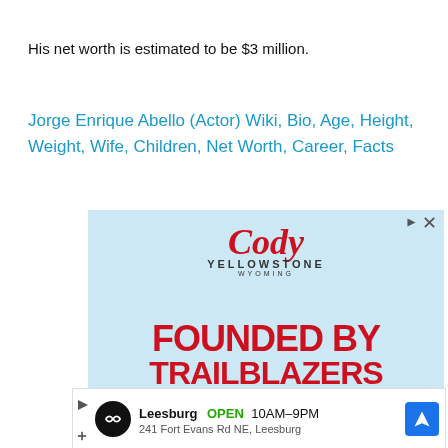His net worth is estimated to be $3 million.
Jorge Enrique Abello (Actor) Wiki, Bio, Age, Height, Weight, Wife, Children, Net Worth, Career, Facts
[Figure (illustration): Advertisement for Cody Yellowstone Wyoming tourism with red script Cody logo and bold red text 'FOUNDED BY TRAILBLAZERS' on light blue background]
[Figure (illustration): Google Maps advertisement for Leesburg store, open 10AM-9PM, 241 Fort Evans Rd NE, Leesburg]